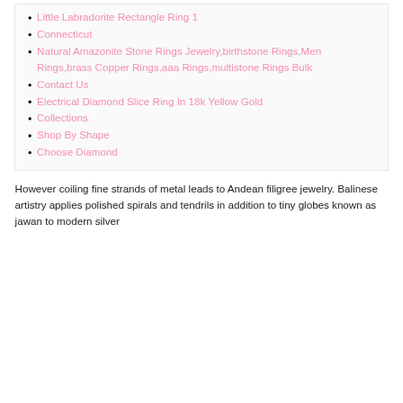Little Labradorite Rectangle Ring 1
Connecticut
Natural Amazonite Stone Rings Jewelry,birthstone Rings,Men Rings,brass Copper Rings,aaa Rings,multistone Rings Bulk
Contact Us
Electrical Diamond Slice Ring In 18k Yellow Gold
Collections
Shop By Shape
Choose Diamond
However coiling fine strands of metal leads to Andean filigree jewelry. Balinese artistry applies polished spirals and tendrils in addition to tiny globes known as jawan to modern silver